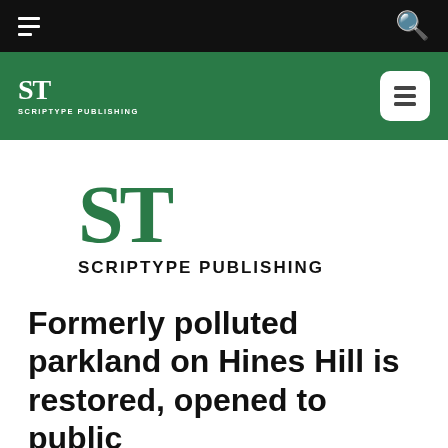[Navigation bar with hamburger menu and search icon]
[Figure (logo): ScripType Publishing logo in green header bar with white list icon box on right]
[Figure (logo): ScripType Publishing large logo: ST in green serif font with SCRIPTYPE PUBLISHING in bold caps below]
Formerly polluted parkland on Hines Hill is restored, opened to public
March 3, 2021
Tweet